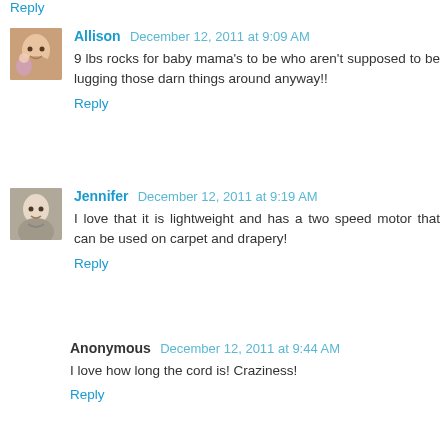Reply
Allison  December 12, 2011 at 9:09 AM
9 lbs rocks for baby mama's to be who aren't supposed to be lugging those darn things around anyway!!
Reply
Jennifer  December 12, 2011 at 9:19 AM
I love that it is lightweight and has a two speed motor that can be used on carpet and drapery!
Reply
Anonymous  December 12, 2011 at 9:44 AM
I love how long the cord is! Craziness!
Reply